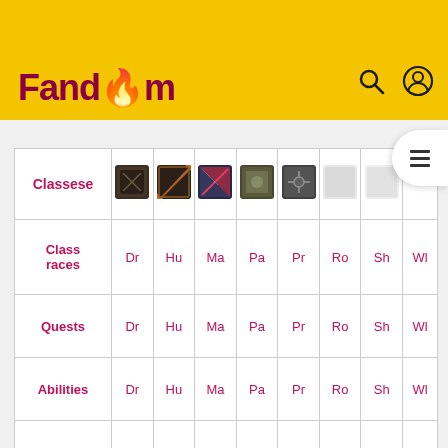Fandom
| Classese | [icon1] | [icon2] | [icon3] | [icon4] | [icon5] | [icon6] | [icon7] |  |
| --- | --- | --- | --- | --- | --- | --- | --- | --- |
| Class races | Dr | Hu | Ma | Pa | Pr | Ro | Sh | Wl |
| Quests | Dr | Hu | Ma | Pa | Pr | Ro | Sh | Wl |
| Abilities | Dr | Hu | Ma | Pa | Pr | Ro | Sh | Wl |
| Trainers | Dr | Hu | Ma | Pa | Pr | Ro | Sh | Wl |
| Talents | Dr | Hu | Ma | Pa | Pr | Ro | Sh | Wl |